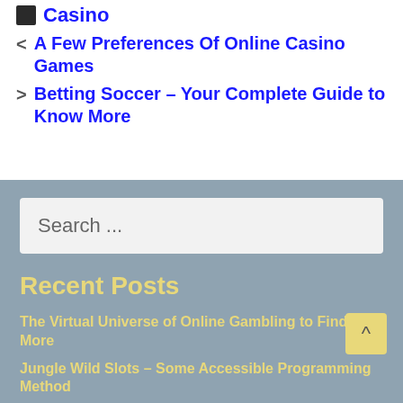Casino
< A Few Preferences Of Online Casino Games
> Betting Soccer – Your Complete Guide to Know More
Search ...
Recent Posts
The Virtual Universe of Online Gambling to Find out More
Jungle Wild Slots – Some Accessible Programming Method